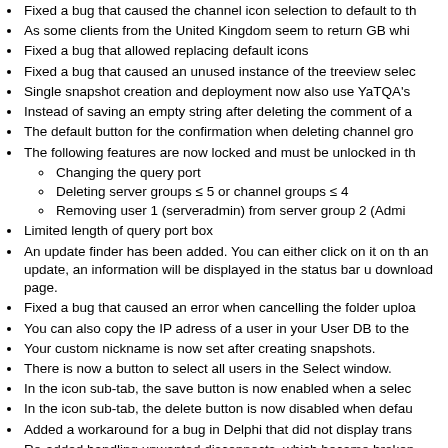Fixed a bug that caused the channel icon selection to default to th...
As some clients from the United Kingdom seem to return GB whi...
Fixed a bug that allowed replacing default icons
Fixed a bug that caused an unused instance of the treeview selec...
Single snapshot creation and deployment now also use YaTQA's...
Instead of saving an empty string after deleting the comment of a...
The default button for the confirmation when deleting channel gro...
The following features are now locked and must be unlocked in th...
Changing the query port
Deleting server groups ≤ 5 or channel groups ≤ 4
Removing user 1 (serveradmin) from server group 2 (Admi...
Limited length of query port box
An update finder has been added. You can either click on it on th... an update, an information will be displayed in the status bar u... download page.
Fixed a bug that caused an error when cancelling the folder uploa...
You can also copy the IP adress of a user in your User DB to the...
Your custom nickname is now set after creating snapshots.
There is now a button to select all users in the Select window.
In the icon sub-tab, the save button is now enabled when a selec...
In the icon sub-tab, the delete button is now disabled when defau...
Added a workaround for a bug in Delphi that did not display trans...
Re-added handling unwanted disconnects, which became broken...
If bytes 3, 5, 7 and 9 are 0, a snapshot file is handled as Unico... not, it is handled as UTF-8 instead. Therefore, the YaTQA snaps... does not produce valid snapshots for the TS3 backup scripts to de...
In the channel tree view, users are now sorted by their talk pov... change if you move them around. (?)
Fixed a bug that refreshed the channel list box in the Permissions...
Added a workaround so the combo box gets the focus when con...